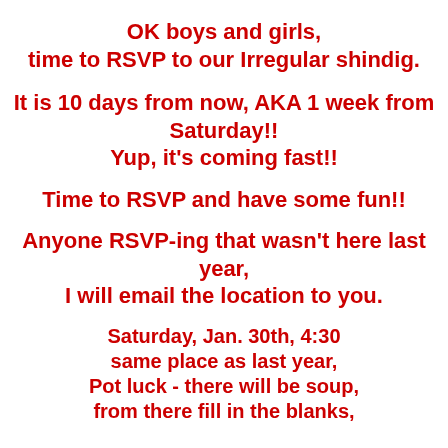OK boys and girls,
time to RSVP to our Irregular shindig.
It is 10 days from now, AKA 1 week from Saturday!!
Yup, it's coming fast!!
Time to RSVP and have some fun!!
Anyone RSVP-ing that wasn't here last year,
I will email the location to you.
Saturday, Jan. 30th, 4:30
same place as last year,
Pot luck - there will be soup,
from there fill in the blanks,